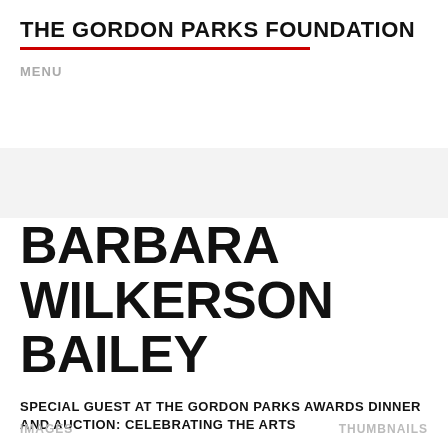THE GORDON PARKS FOUNDATION
MENU
BARBARA WILKERSON BAILEY
SPECIAL GUEST AT THE GORDON PARKS AWARDS DINNER AND AUCTION: CELEBRATING THE ARTS
JUNE 2, 2015
IMAGES	THUMBNAILS